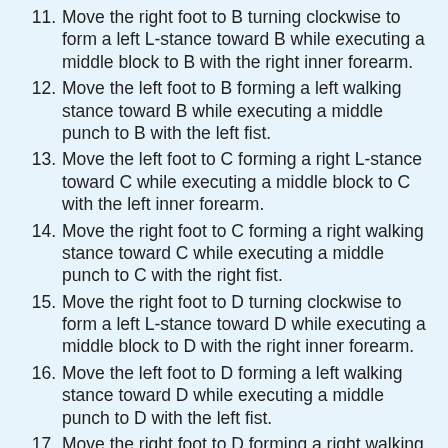11. Move the right foot to B turning clockwise to form a left L-stance toward B while executing a middle block to B with the right inner forearm.
12. Move the left foot to B forming a left walking stance toward B while executing a middle punch to B with the left fist.
13. Move the left foot to C forming a right L-stance toward C while executing a middle block to C with the left inner forearm.
14. Move the right foot to C forming a right walking stance toward C while executing a middle punch to C with the right fist.
15. Move the right foot to D turning clockwise to form a left L-stance toward D while executing a middle block to D with the right inner forearm.
16. Move the left foot to D forming a left walking stance toward D while executing a middle punch to D with the left fist.
17. Move the right foot to D forming a right walking stance toward D while executing a middle punch to D with the right fist.